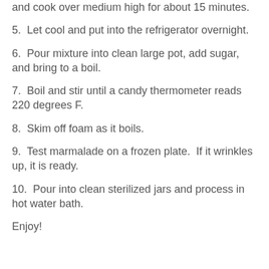and cook over medium high for about 15 minutes.
5.  Let cool and put into the refrigerator overnight.
6.  Pour mixture into clean large pot, add sugar, and bring to a boil.
7.  Boil and stir until a candy thermometer reads 220 degrees F.
8.  Skim off foam as it boils.
9.  Test marmalade on a frozen plate.  If it wrinkles up, it is ready.
10.  Pour into clean sterilized jars and process in hot water bath.
Enjoy!